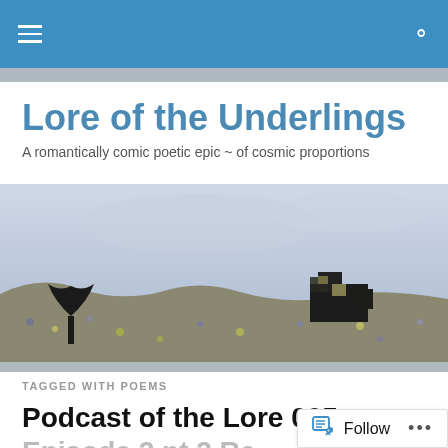Lore of the Underlings — navigation bar
Lore of the Underlings
A romantically comic poetic epic ~ of cosmic proportions
[Figure (illustration): Watercolor landscape painting showing a dark tree silhouette on the left, rocky terrain with purple and yellow hues, and dark angular ruins or rock formations on the right, under a hazy sky.]
TAGGED WITH POEMS
Podcast of the Lore 005 ~
Episode 2 pt 2  Re...